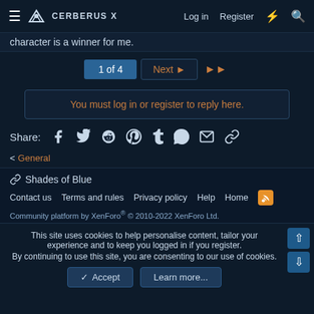CERBERUS X — Log in | Register
character is a winner for me.
1 of 4 | Next | >>
You must log in or register to reply here.
Share: [facebook] [twitter] [reddit] [pinterest] [tumblr] [whatsapp] [email] [link]
< General
🔗 Shades of Blue
Contact us   Terms and rules   Privacy policy   Help   Home   [RSS]
Community platform by XenForo® © 2010-2022 XenForo Ltd.
This site uses cookies to help personalise content, tailor your experience and to keep you logged in if you register. By continuing to use this site, you are consenting to our use of cookies.
✓ Accept   Learn more...